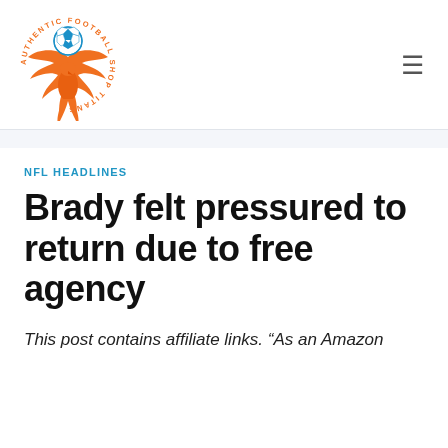[Figure (logo): Authentic Football Shop Titans logo: orange phoenix bird with blue soccer ball, circular text around the top reading AUTHENTIC FOOTBALL SHOP TITANS]
NFL HEADLINES
Brady felt pressured to return due to free agency
This post contains affiliate links. “As an Amazon